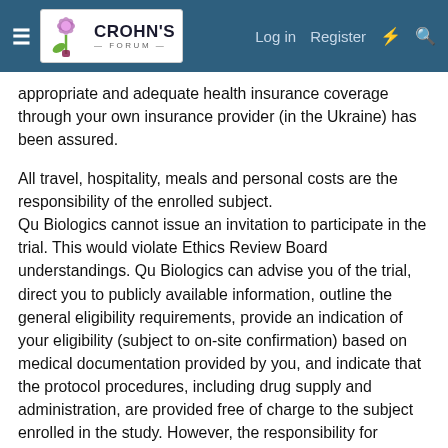Crohn's Forum — Log in | Register
appropriate and adequate health insurance coverage through your own insurance provider (in the Ukraine) has been assured.
All travel, hospitality, meals and personal costs are the responsibility of the enrolled subject. Qu Biologics cannot issue an invitation to participate in the trial. This would violate Ethics Review Board understandings. Qu Biologics can advise you of the trial, direct you to publicly available information, outline the general eligibility requirements, provide an indication of your eligibility (subject to on-site confirmation) based on medical documentation provided by you, and indicate that the protocol procedures, including drug supply and administration, are provided free of charge to the subject enrolled in the study. However, the responsibility for obtaining a visa to enter Canada to participate in the clinical trial lies with the subject /enrollee.
Participation in the study requires that you be on-site in Canada